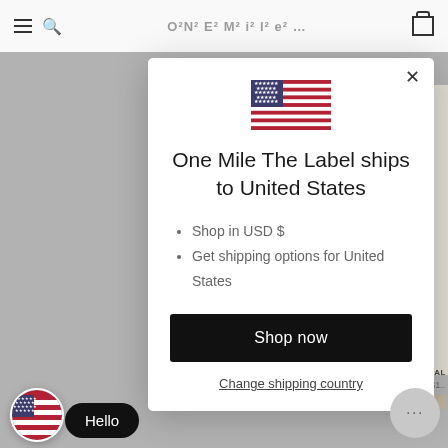[Figure (screenshot): Website navigation bar with hamburger menu, search icon, partially visible store name, and shopping bag icon on a white background, grayed out behind modal overlay.]
[Figure (illustration): US flag emoji/icon centered in the modal dialog.]
One Mile The Label ships to United States
Shop in USD $
Get shipping options for United States
Shop now
Change shipping country